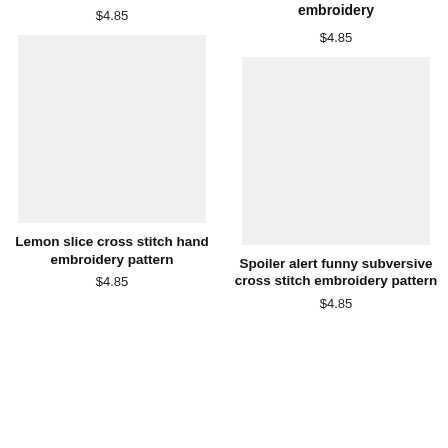$4.85
embroidery
$4.85
[Figure (photo): Product image placeholder for Lemon slice cross stitch hand embroidery pattern]
[Figure (photo): Product image placeholder for Spoiler alert funny subversive cross stitch embroidery pattern]
Lemon slice cross stitch hand embroidery pattern
$4.85
Spoiler alert funny subversive cross stitch embroidery pattern
$4.85